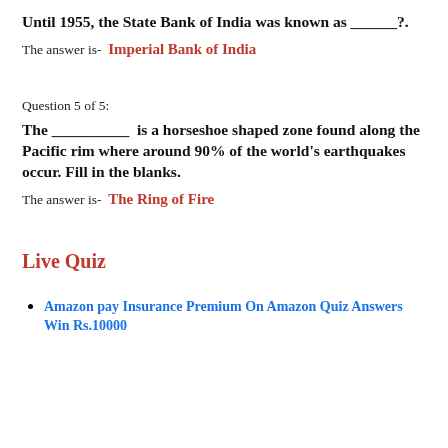Until 1955, the State Bank of India was known as ______?.
The answer is-  Imperial Bank of India
Question 5 of 5:
The __________ is a horseshoe shaped zone found along the Pacific rim where around 90% of the world's earthquakes occur. Fill in the blanks.
The answer is-  The Ring of Fire
Live Quiz
Amazon pay Insurance Premium On Amazon Quiz Answers Win Rs.10000